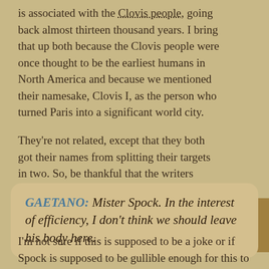is associated with the Clovis people, going back almost thirteen thousand years. I bring that up both because the Clovis people were once thought to be the earliest humans in North America and because we mentioned their namesake, Clovis I, as the person who turned Paris into a significant world city.
They're not related, except that they both got their names from splitting their targets in two. So, be thankful that the writers didn't make that connection, else we'd have some much gorier death scenes...
GAETANO: Mister Spock. In the interest of efficiency, I don't think we should leave his body here.
I'm not sure if this is supposed to be a joke or if Spock is supposed to be gullible enough for this to work. I know that I've worked with some people who you could